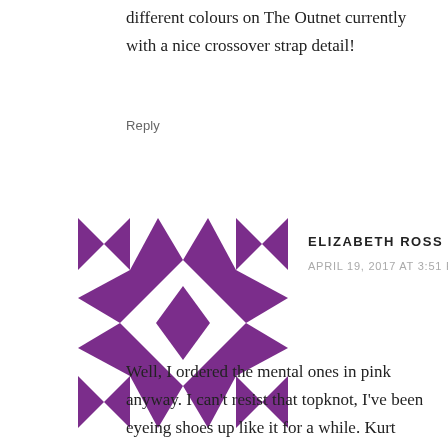different colours on The Outnet currently with a nice crossover strap detail!
Reply
[Figure (illustration): Purple geometric quilt-pattern avatar icon for user Elizabeth Ross]
ELIZABETH ROSS SAYS
APRIL 19, 2017 AT 3:51 PM
Well, I ordered the mental ones in pink anyway. I can't resist that topknot, I've been eyeing shoes up like it for a while. Kurt Geiger sells trainers with it on but for over £150 – out my